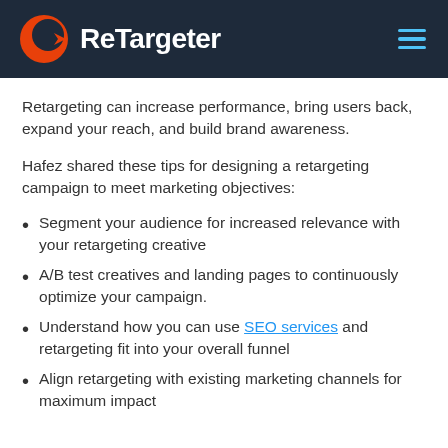ReTargeter
Retargeting can increase performance, bring users back, expand your reach, and build brand awareness.
Hafez shared these tips for designing a retargeting campaign to meet marketing objectives:
Segment your audience for increased relevance with your retargeting creative
A/B test creatives and landing pages to continuously optimize your campaign.
Understand how you can use SEO services and retargeting fit into your overall funnel
Align retargeting with existing marketing channels for maximum impact